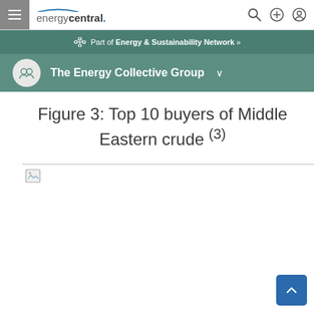energycentral. navigation bar with hamburger menu, search, add, and user icons
Part of Energy & Sustainability Network »
The Energy Collective Group
Figure 3: Top 10 buyers of Middle Eastern crude (3)
[Figure (other): Broken/missing image placeholder for a chart showing Top 10 buyers of Middle Eastern crude]